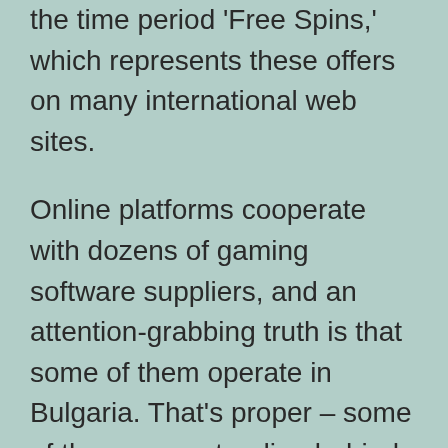the time period 'Free Spins,' which represents these offers on many international web sites.
Online platforms cooperate with dozens of gaming software suppliers, and an attention-grabbing truth is that some of them operate in Bulgaria. That's proper – some of the groups standing behind the most successful on line casino video games are Bulgarians – which justifies the great respect from the complete casino community. Let's quickly let онлайн казино българия know a bit extra about the most popular companies that establish the native casinos' ambiance and on the leading betting web sites.